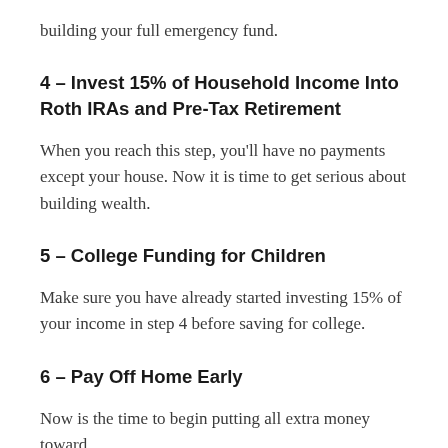building your full emergency fund.
4 – Invest 15% of Household Income Into Roth IRAs and Pre-Tax Retirement
When you reach this step, you'll have no payments except your house. Now it is time to get serious about building wealth.
5 – College Funding for Children
Make sure you have already started investing 15% of your income in step 4 before saving for college.
6 – Pay Off Home Early
Now is the time to begin putting all extra money toward